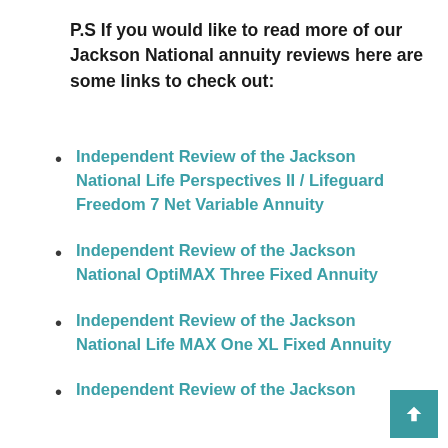P.S If you would like to read more of our Jackson National annuity reviews here are some links to check out:
Independent Review of the Jackson National Life Perspectives II / Lifeguard Freedom 7 Net Variable Annuity
Independent Review of the Jackson National OptiMAX Three Fixed Annuity
Independent Review of the Jackson National Life MAX One XL Fixed Annuity
Independent Review of the Jackson